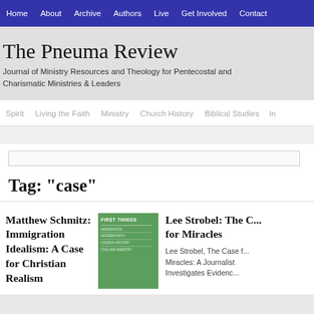Home  About  Archive  Authors  Live  Get Involved  Contact
The Pneuma Review
Journal of Ministry Resources and Theology for Pentecostal and Charismatic Ministries & Leaders
Spirit  Living the Faith  Ministry  Church History  Biblical Studies  In...
Tag: "case"
Matthew Schmitz: Immigration Idealism: A Case for Christian Realism
[Figure (illustration): Green book cover with 'FIRST THINGS' text at top and several article titles listed below]
Lee Strobel: The C... for Miracles
Lee Strobel, The Case f... Miracles: A Journalist Investigates Evidenc...